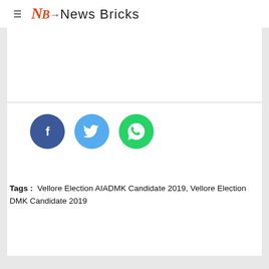≡ NB News Bricks
[Figure (logo): News Bricks logo with NB monogram and pen icon]
Tags : Vellore Election AIADMK Candidate 2019, Vellore Election DMK Candidate 2019